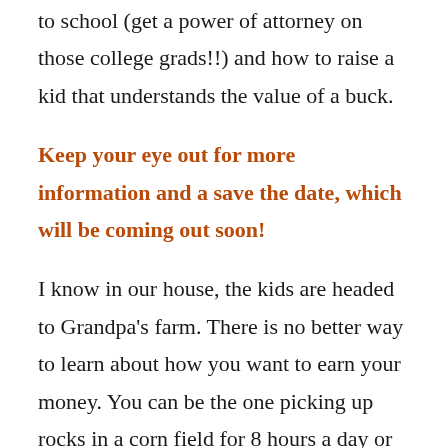to school (get a power of attorney on those college grads!!) and how to raise a kid that understands the value of a buck.
Keep your eye out for more information and a save the date, which will be coming out soon!
I know in our house, the kids are headed to Grandpa's farm. There is no better way to learn about how you want to earn your money. You can be the one picking up rocks in a corn field for 8 hours a day or you can be the owner of the